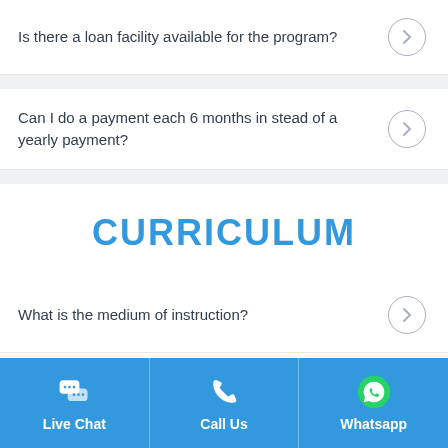Is there a loan facility available for the program?
Can I do a payment each 6 months in stead of a yearly payment?
CURRICULUM
What is the medium of instruction?
Live Chat | Call Us | Whatsapp